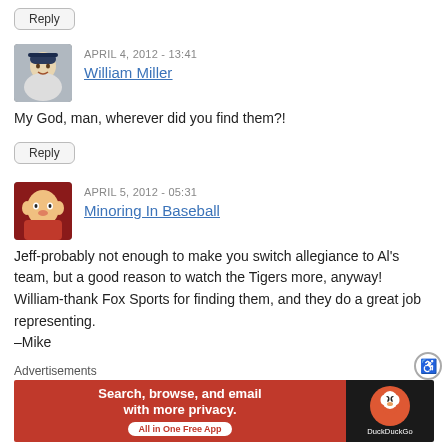Reply
APRIL 4, 2012 - 13:41
William Miller
My God, man, wherever did you find them?!
Reply
APRIL 5, 2012 - 05:31
Minoring In Baseball
Jeff-probably not enough to make you switch allegiance to Al’s team, but a good reason to watch the Tigers more, anyway!
William-thank Fox Sports for finding them, and they do a great job representing.
–Mike
Advertisements
[Figure (screenshot): DuckDuckGo advertisement banner: orange background with text 'Search, browse, and email with more privacy. All in One Free App' and DuckDuckGo logo on dark right panel.]